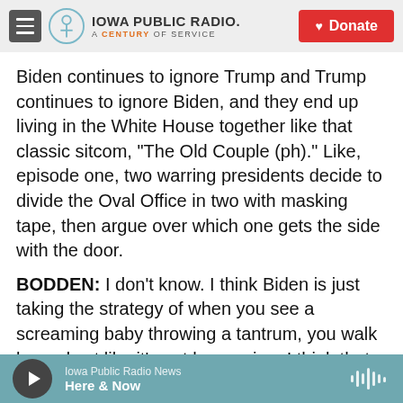Iowa Public Radio. A Century of Service. Donate.
Biden continues to ignore Trump and Trump continues to ignore Biden, and they end up living in the White House together like that classic sitcom, "The Old Couple (ph)." Like, episode one, two warring presidents decide to divide the Oval Office in two with masking tape, then argue over which one gets the side with the door.
BODDEN: I don't know. I think Biden is just taking the strategy of when you see a screaming baby throwing a tantrum, you walk by and act like it's not happening. I think that is the best way you treat a screaming baby. Just - he'll tire himself out quickly.
Iowa Public Radio News
Here & Now